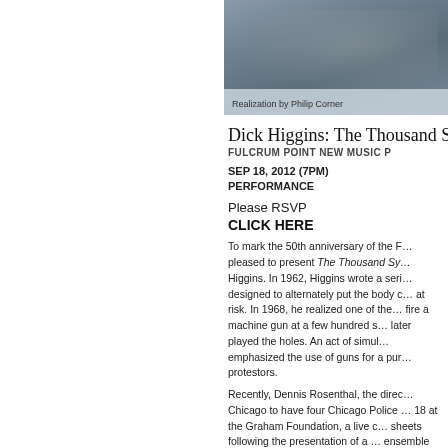[Figure (photo): Album or event artwork with 'Realization by Philip Corner' caption overlay]
Dick Higgins: The Thousand S…
FULCRUM POINT NEW MUSIC P…
SEP 18, 2012 (7PM)
PERFORMANCE
Please RSVP
CLICK HERE
To mark the 50th anniversary of the F… pleased to present The Thousand Sy… Higgins. In 1962, Higgins wrote a seri… designed to alternately put the body c… at risk. In 1968, he realized one of the… fire a machine gun at a few hundred s… later played the holes. An act of simul… emphasized the use of guns for a pur… protestors.
Recently, Dennis Rosenthal, the direc… Chicago to have four Chicago Police … 18 at the Graham Foundation, a live c… sheets following the presentation of a … ensemble will borrow the form of Stra… with instruments from every section.